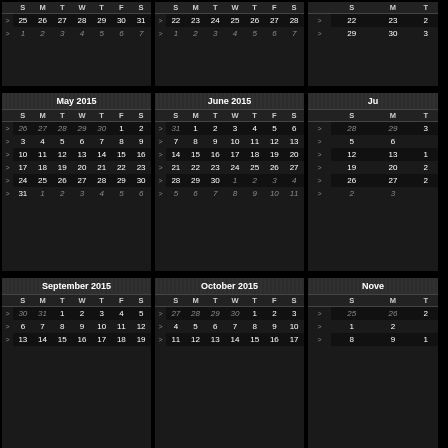| S | M | T | W | T | F | S |
| --- | --- | --- | --- | --- | --- | --- |
| > | 25 | 26 | 27 | 28 | 29 | 30 | 31 |
| > | 1 | 2 | 3 | 4 | 5 | 6 | 7 |
| S | M | T | W | T | F | S |
| --- | --- | --- | --- | --- | --- | --- |
| > | 22 | 23 | 24 | 25 | 26 | 27 | 28 |
| > | 1 | 2 | 3 | 4 | 5 | 6 | 7 |
| S | M | T | W | T | F | S |
| --- | --- | --- | --- | --- | --- | --- |
| > | 22 | 23 | ... |
| > | 29 | 30 | ... |
May 2015
June 2015
| S | M | T | W | T | F | S |
| --- | --- | --- | --- | --- | --- | --- |
| > | 26 | 27 | 28 | 29 | 30 | 1 | 2 |
| > | 3 | 4 | 5 | 6 | 7 | 8 | 9 |
| > | 10 | 11 | 12 | 13 | 14 | 15 | 16 |
| > | 17 | 18 | 19 | 20 | 21 | 22 | 23 |
| > | 24 | 25 | 26 | 27 | 28 | 29 | 30 |
| > | 31 | 1 | 2 | 3 | 4 | 5 | 6 |
| S | M | T | W | T | F | S |
| --- | --- | --- | --- | --- | --- | --- |
| > | 31 | 1 | 2 | 3 | 4 | 5 | 6 |
| > | 7 | 8 | 9 | 10 | 11 | 12 | 13 |
| > | 14 | 15 | 16 | 17 | 18 | 19 | 20 |
| > | 21 | 22 | 23 | 24 | 25 | 26 | 27 |
| > | 28 | 29 | 30 | 1 | 2 | 3 | 4 |
| > | 5 | 6 | 7 | 8 | 9 | 10 | 11 |
September 2015
October 2015
November...
| S | M | T | W | T | F | S |
| --- | --- | --- | --- | --- | --- | --- |
| > | 30 | 31 | 1 | 2 | 3 | 4 | 5 |
| > | 6 | 7 | 8 | 9 | 10 | 11 | 12 |
| > | 13 | 14 | 15 | 16 | 17 | 18 | 19 |
| S | M | T | W | T | F | S |
| --- | --- | --- | --- | --- | --- | --- |
| > | 27 | 28 | 29 | 30 | 1 | 2 | 3 |
| > | 4 | 5 | 6 | 7 | 8 | 9 | 10 |
| > | 11 | 12 | 13 | 14 | 15 | 16 | 17 |